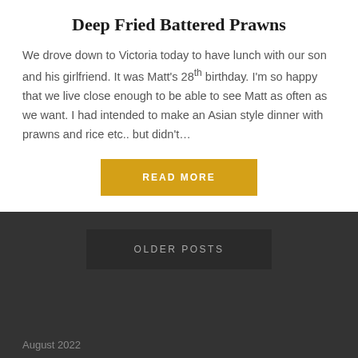Deep Fried Battered Prawns
We drove down to Victoria today to have lunch with our son and his girlfriend.  It was Matt's 28th birthday.  I'm so happy that we live close enough to be able to see Matt as often as we want. I had intended to make an Asian style dinner with prawns and rice etc.. but didn't…
READ MORE
OLDER POSTS
August 2022